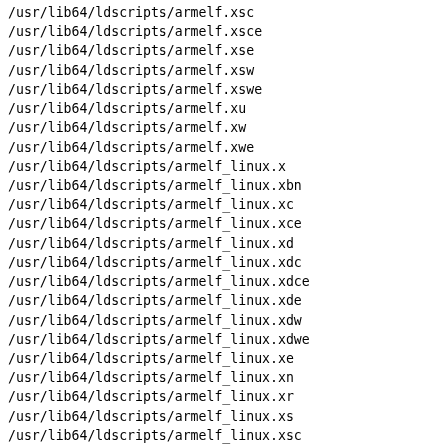/usr/lib64/ldscripts/armelf.xsc
/usr/lib64/ldscripts/armelf.xsce
/usr/lib64/ldscripts/armelf.xse
/usr/lib64/ldscripts/armelf.xsw
/usr/lib64/ldscripts/armelf.xswe
/usr/lib64/ldscripts/armelf.xu
/usr/lib64/ldscripts/armelf.xw
/usr/lib64/ldscripts/armelf.xwe
/usr/lib64/ldscripts/armelf_linux.x
/usr/lib64/ldscripts/armelf_linux.xbn
/usr/lib64/ldscripts/armelf_linux.xc
/usr/lib64/ldscripts/armelf_linux.xce
/usr/lib64/ldscripts/armelf_linux.xd
/usr/lib64/ldscripts/armelf_linux.xdc
/usr/lib64/ldscripts/armelf_linux.xdce
/usr/lib64/ldscripts/armelf_linux.xde
/usr/lib64/ldscripts/armelf_linux.xdw
/usr/lib64/ldscripts/armelf_linux.xdwe
/usr/lib64/ldscripts/armelf_linux.xe
/usr/lib64/ldscripts/armelf_linux.xn
/usr/lib64/ldscripts/armelf_linux.xr
/usr/lib64/ldscripts/armelf_linux.xs
/usr/lib64/ldscripts/armelf_linux.xsc
/usr/lib64/ldscripts/armelf_linux.xsce
/usr/lib64/ldscripts/armelf_linux.xse
/usr/lib64/ldscripts/armelf_linux.xsw
/usr/lib64/ldscripts/armelf_linux.xswe
/usr/lib64/ldscripts/armelf_linux.xu
/usr/lib64/ldscripts/armelf_linux.xw
/usr/lib64/ldscripts/armelf_linux.xwe